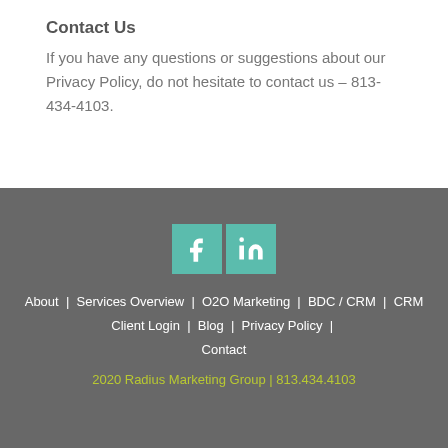Contact Us
If you have any questions or suggestions about our Privacy Policy, do not hesitate to contact us – 813-434-4103.
[Figure (other): Social media icons: Facebook and LinkedIn, rendered as teal square buttons with white logos]
About | Services Overview | O2O Marketing | BDC / CRM | CRM Client Login | Blog | Privacy Policy | Contact
2020 Radius Marketing Group | 813.434.4103